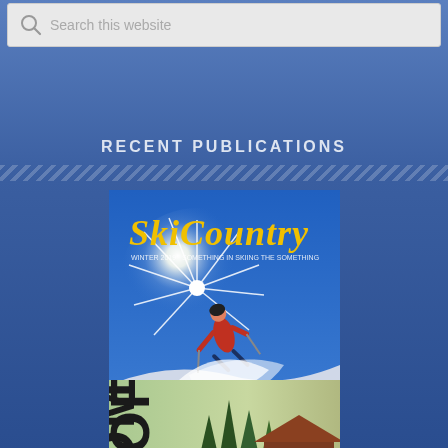Search this website
RECENT PUBLICATIONS
[Figure (photo): Cover of 2019 Ski Country magazine showing a skier in powder snow with text 'Ski areas face CLIMATE CHANGE' and 'Rocky Mountain MONSTERS']
2019 Ski Country
[Figure (photo): Partial cover of a homes publication showing a building with trees, text partially visible reading 'E OF HOMES']